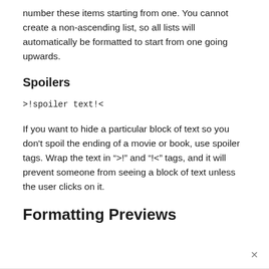number these items starting from one. You cannot create a non-ascending list, so all lists will automatically be formatted to start from one going upwards.
Spoilers
If you want to hide a particular block of text so you don’t spoil the ending of a movie or book, use spoiler tags. Wrap the text in “>!” and “!<” tags, and it will prevent someone from seeing a block of text unless the user clicks on it.
Formatting Previews